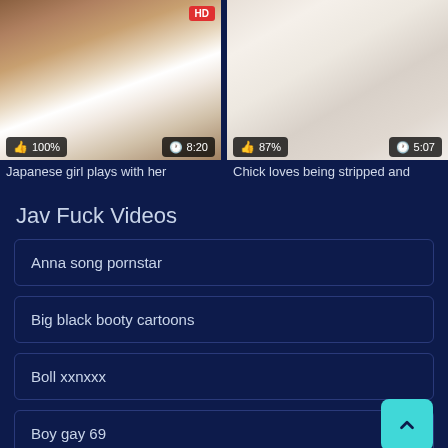[Figure (screenshot): Two video thumbnails side by side. Left: Japanese girl in white sailor outfit, 100% rating, 8:20 duration. Right: Woman on white couch, 87% rating, 5:07 duration. HD badge on left thumbnail.]
Japanese girl plays with her
Chick loves being stripped and
Jav Fuck Videos
Anna song pornstar
Big black booty cartoons
Boll xxnxxx
Boy gay 69